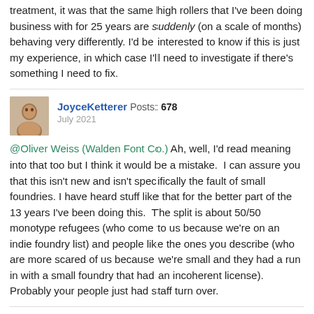treatment, it was that the same high rollers that I've been doing business with for 25 years are suddenly (on a scale of months) behaving very differently. I'd be interested to know if this is just my experience, in which case I'll need to investigate if there's something I need to fix.
JoyceKetterer Posts: 678
July 2021
@Oliver Weiss (Walden Font Co.) Ah, well, I'd read meaning into that too but I think it would be a mistake.  I can assure you that this isn't new and isn't specifically the fault of small foundries. I have heard stuff like that for the better part of the 13 years I've been doing this.  The split is about 50/50 monotype refugees (who come to us because we're on an indie foundry list) and people like the ones you describe (who are more scared of us because we're small and they had a run in with a small foundry that had an incoherent license). Probably your people just had staff turn over.
Nick Curtis Posts: 118
July 2021